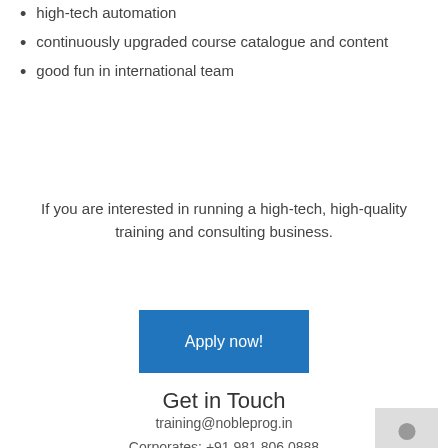high-tech automation
continuously upgraded course catalogue and content
good fun in international team
If you are interested in running a high-tech, high-quality training and consulting business.
[Figure (other): Blue 'Apply now!' button]
Get in Touch
training@nobleprog.in
Corporates: +91 981 806 0888
Individuals: +91 959 940 9461
[Figure (illustration): Grey avatar/person icon placeholder image]